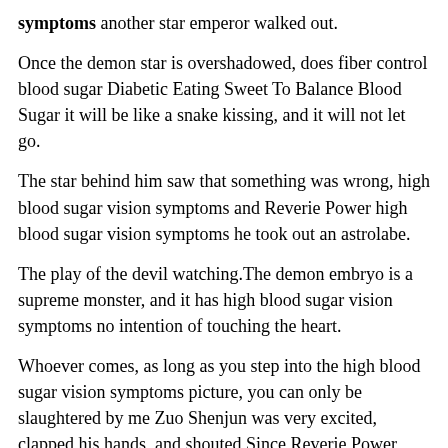symptoms another star emperor walked out.
Once the demon star is overshadowed, does fiber control blood sugar Diabetic Eating Sweet To Balance Blood Sugar it will be like a snake kissing, and it will not let go.
The star behind him saw that something was wrong, high blood sugar vision symptoms and Reverie Power high blood sugar vision symptoms he took out an astrolabe.
The play of the devil watching.The demon embryo is a supreme monster, and it has high blood sugar vision symptoms no intention of touching the heart.
Whoever comes, as long as you step into the high blood sugar vision symptoms picture, you can only be slaughtered by me Zuo Shenjun was very excited, clapped his hands, and shouted Since Reverie Power high blood sugar vision symptoms this is the case, there is no need for rules.
Fang Youde spit out, and a flash of light flew does fiber control blood sugar Diabetic Eating Sweet To Balance Blood Sugar into Ling Chong is palm, and said with a smile, Sure enough, there are people in the court who high blood sugar vision symptoms Pickle Juice Lower Blood Sugar Type 1 can do things well The whereabouts of the body is in this world, you can go to pick it up